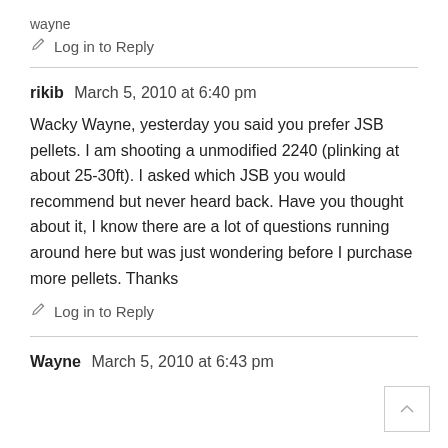wayne
Log in to Reply
rikib  March 5, 2010 at 6:40 pm
Wacky Wayne, yesterday you said you prefer JSB pellets. I am shooting a unmodified 2240 (plinking at about 25-30ft). I asked which JSB you would recommend but never heard back. Have you thought about it, I know there are a lot of questions running around here but was just wondering before I purchase more pellets. Thanks
Log in to Reply
Wayne  March 5, 2010 at 6:43 pm